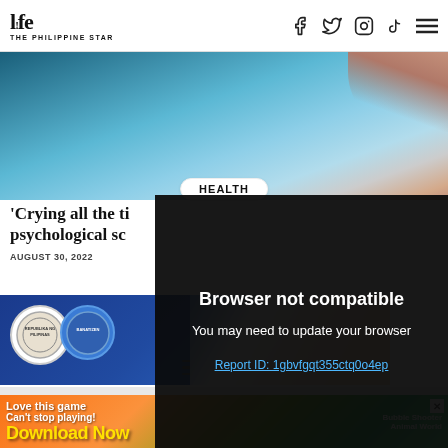Life The Philippine Star — navigation header with Facebook, Twitter, Instagram, TikTok icons and menu
[Figure (photo): Hero image showing a close-up of a hand/finger tip over a light blue background]
HEALTH
'Crying all the time... psychological sc
AUGUST 30, 2022
[Figure (screenshot): Black overlay popup with text: Browser not compatible. You may need to update your browser. Report ID: 1gbvfgqt355ctq0o4ep]
[Figure (photo): Thumbnail showing official seals/logos on a blue background with people smiling in the right portion]
[Figure (photo): Advertisement banner: Love this game Can't stop playing! Download Now — Bubble Shooter Animal World]